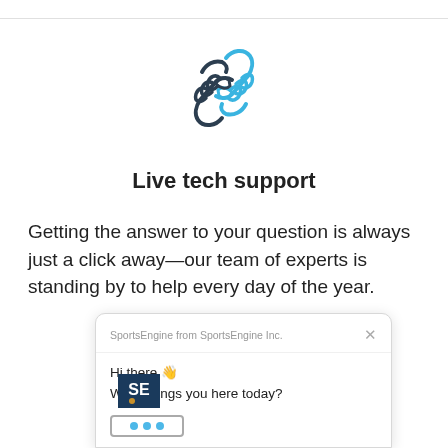[Figure (illustration): A two-tone handshake icon in blue and dark navy outline style, representing partnership or support.]
Live tech support
Getting the answer to your question is always just a click away—our team of experts is standing by to help every day of the year.
[Figure (screenshot): A live chat widget popup from SportsEngine showing a greeting message: 'Hi there 👋 What brings you here today?' with a SportsEngine logo and typing indicator dots. Header reads 'SportsEngine from SportsEngine Inc.' with a close (×) button.]